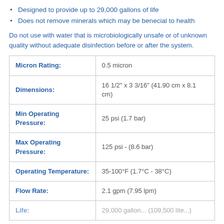Designed to provide up to 29,000 gallons of life
Does not remove minerals which may be benecial to health
Do not use with water that is microbiologically unsafe or of unknown quality without adequate disinfection before or after the system.
| Property | Value |
| --- | --- |
| Micron Rating: | 0.5 micron |
| Dimensions: | 16 1/2" x 3 3/16" (41.90 cm x 8.1 cm) |
| Min Operating Pressure: | 25 psi (1.7 bar) |
| Max Operating Pressure: | 125 psi - (8.6 bar) |
| Operating Temperature: | 35-100°F (1.7°C - 38°C) |
| Flow Rate: | 2.1 gpm (7.95 lpm) |
| Life: | 29,000 gallons (109,500 liters) |